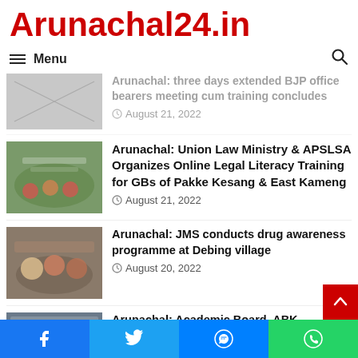Arunachal24.in
Menu
Arunachal: three days extended BJP office bearers meeting cum training concludes — August 21, 2022
Arunachal: Union Law Ministry & APSLSA Organizes Online Legal Literacy Training for GBs of Pakke Kesang & East Kameng — August 21, 2022
Arunachal: JMS conducts drug awareness programme at Debing village — August 20, 2022
Arunachal: Academic Board, ABK felicitates toppers in its Annual Excellence Award ceremony